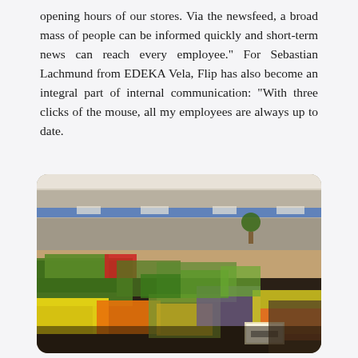opening hours of our stores. Via the newsfeed, a broad mass of people can be informed quickly and short-term news can reach every employee." For Sebastian Lachmund from EDEKA Vela, Flip has also become an integral part of internal communication: "With three clicks of the mouse, all my employees are always up to date.
[Figure (photo): Interior of an EDEKA supermarket showing a large produce section with abundant fruits and vegetables including bananas, oranges, grapes, and green vegetables arranged in display cases, with store aisles visible in the background.]